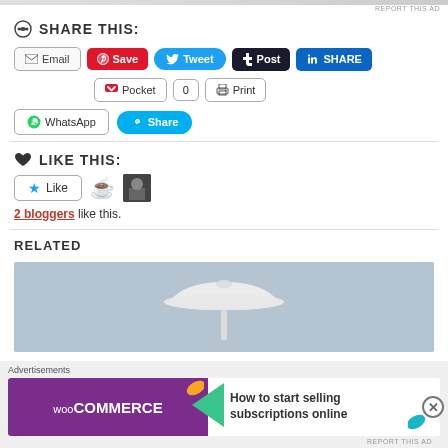SHARE THIS:
Email | Save | Tweet | Post | SHARE | Pocket | 0 | Print | WhatsApp | Share
LIKE THIS:
2 bloggers like this.
RELATED
[Figure (photo): White lamp/shower head against grey-blue sky background]
Advertisements
[Figure (infographic): WooCommerce advertisement banner: How to start selling subscriptions online]